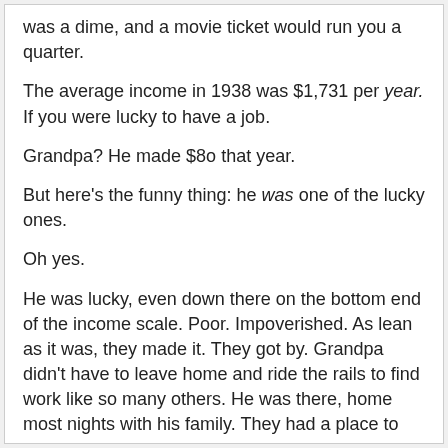was a dime, and a movie ticket would run you a quarter.
The average income in 1938 was $1,731 per year. If you were lucky to have a job.
Grandpa? He made $8o that year.
But here's the funny thing: he was one of the lucky ones.
Oh yes.
He was lucky, even down there on the bottom end of the income scale. Poor. Impoverished. As lean as it was, they made it. They got by. Grandpa didn't have to leave home and ride the rails to find work like so many others. He was there, home most nights with his family. They had a place to live, with relatives, but they had a place. My grandparents lost a child. My mom and her siblings had to go out back to the outhouse in the Midwestern winter, they didn't have much to eat, they were cold a lot, but they got by.
They survived the Great Depression.